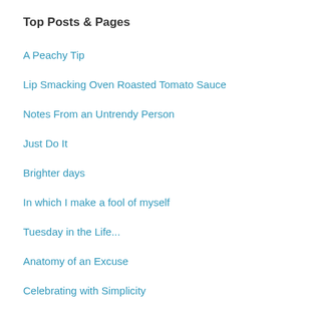Top Posts & Pages
A Peachy Tip
Lip Smacking Oven Roasted Tomato Sauce
Notes From an Untrendy Person
Just Do It
Brighter days
In which I make a fool of myself
Tuesday in the Life...
Anatomy of an Excuse
Celebrating with Simplicity
The Goings On